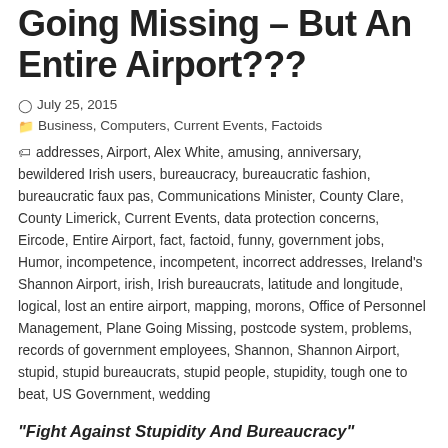Going Missing – But An Entire Airport???
July 25, 2015   Business, Computers, Current Events, Factoids   addresses, Airport, Alex White, amusing, anniversary, bewildered Irish users, bureaucracy, bureaucratic fashion, bureaucratic faux pas, Communications Minister, County Clare, County Limerick, Current Events, data protection concerns, Eircode, Entire Airport, fact, factoid, funny, government jobs, Humor, incompetence, incompetent, incorrect addresses, Ireland's Shannon Airport, irish, Irish bureaucrats, latitude and longitude, logical, lost an entire airport, mapping, morons, Office of Personnel Management, Plane Going Missing, postcode system, problems, records of government employees, Shannon, Shannon Airport, stupid, stupid bureaucrats, stupid people, stupidity, tough one to beat, US Government, wedding
“Fight Against Stupidity And Bureaucracy”